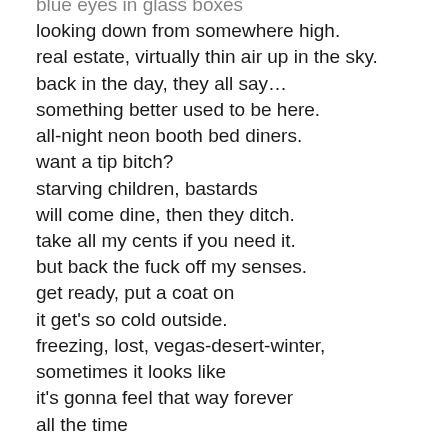blue eyes in glass boxes
looking down from somewhere high.
real estate, virtually thin air up in the sky.
back in the day, they all say…
something better used to be here.
all-night neon booth bed diners.
want a tip bitch?
starving children, bastards
will come dine, then they ditch.
take all my cents if you need it.
but back the fuck off my senses.
get ready, put a coat on
it get's so cold outside.
freezing, lost, vegas-desert-winter,
sometimes it looks like
it's gonna feel that way forever
all the time